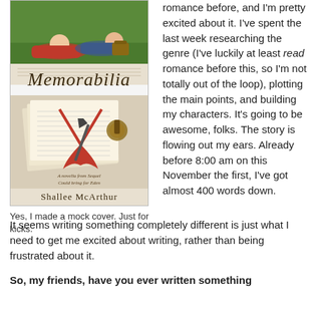[Figure (illustration): Mock book cover for 'Memorabilia' by Shallee McArthur, showing two young people lying on grass at the top, and below a pile of letters tied with a red ribbon, a pen, and a wax seal stamp on a light background. The title 'Memorabilia' is in cursive script.]
Yes, I made a mock cover. Just for kicks.
romance before, and I'm pretty excited about it. I've spent the last week researching the genre (I've luckily at least read romance before this, so I'm not totally out of the loop), plotting the main points, and building my characters. It's going to be awesome, folks. The story is flowing out my ears. Already before 8:00 am on this November the first, I've got almost 400 words down.
It seems writing something completely different is just what I need to get me excited about writing, rather than being frustrated about it.
So, my friends, have you ever written something